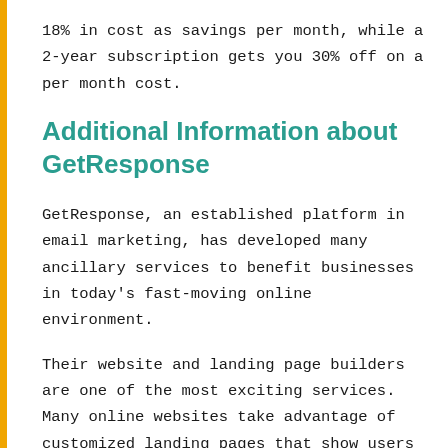18% in cost as savings per month, while a 2-year subscription gets you 30% off on a per month cost.
Additional Information about GetResponse
GetResponse, an established platform in email marketing, has developed many ancillary services to benefit businesses in today's fast-moving online environment.
Their website and landing page builders are one of the most exciting services. Many online websites take advantage of customized landing pages that show users exactly the kind of messaging they need depending on the user's location on the consumer funnel. These landing pages are customizable, allowing business owners to control all aspects of their communications at each stage